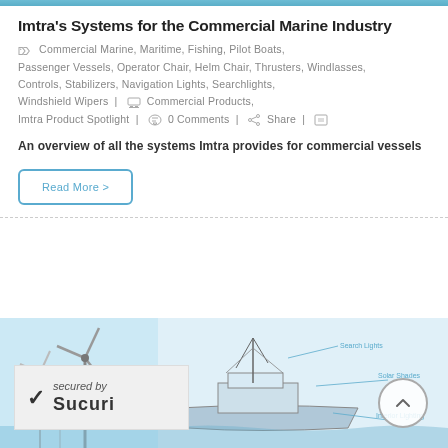Imtra's Systems for the Commercial Marine Industry
Commercial Marine, Maritime, Fishing, Pilot Boats, Passenger Vessels, Operator Chair, Helm Chair, Thrusters, Windlasses, Controls, Stabilizers, Navigation Lights, Searchlights, Windshield Wipers | Commercial Products, Imtra Product Spotlight | 0 Comments | Share
An overview of all the systems Imtra provides for commercial vessels
Read More >
[Figure (illustration): Marine vessel diagram with labeled systems including Search Lights, Solar Shades, Interior Lighting; windmill in background; Sucuri security badge overlay]